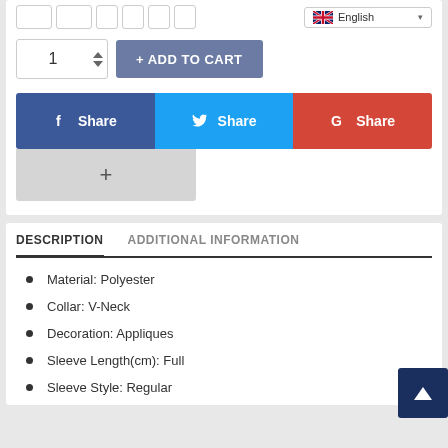[Figure (screenshot): E-commerce product page screenshot showing quantity selector, Add to Cart button, social share buttons (Facebook, Twitter, Google+), a plus button, tab navigation with DESCRIPTION and ADDITIONAL INFORMATION tabs, and a bullet-point list with product details: Material: Polyester, Collar: V-Neck, Decoration: Appliques, Sleeve Length(cm): Full, Sleeve Style: Regular]
Material: Polyester
Collar: V-Neck
Decoration: Appliques
Sleeve Length(cm): Full
Sleeve Style: Regular